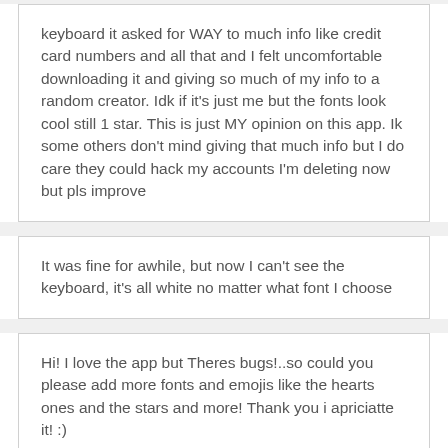keyboard it asked for WAY to much info like credit card numbers and all that and I felt uncomfortable downloading it and giving so much of my info to a random creator. Idk if it's just me but the fonts look cool still 1 star. This is just MY opinion on this app. Ik some others don't mind giving that much info but I do care they could hack my accounts I'm deleting now but pls improve
It was fine for awhile, but now I can't see the keyboard, it's all white no matter what font I choose
Hi! I love the app but Theres bugs!..so could you please add more fonts and emojis like the hearts ones and the stars and more! Thank you i apriciatte it! :)
This app is exceptional and it's what I've always although I